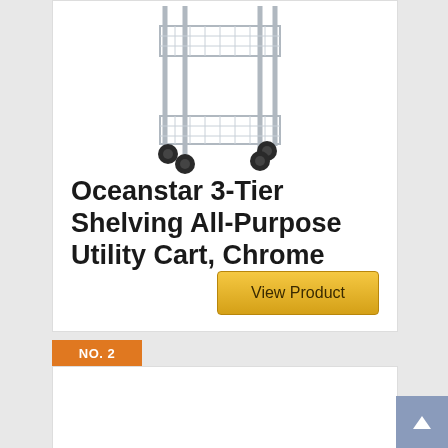[Figure (photo): Chrome wire shelving utility cart with 3 tiers and caster wheels, product photo on white background]
Oceanstar 3-Tier Shelving All-Purpose Utility Cart, Chrome
View Product
NO. 2